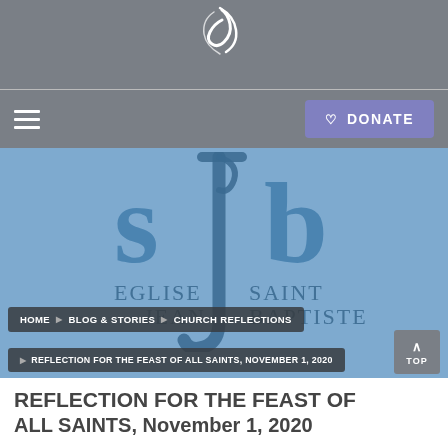[Figure (logo): White calligraphic cross/swoosh logo on gray background at top]
[Figure (logo): SJB Eglise Saint Jean Baptiste logo on blue background]
HOME ▶ BLOG & STORIES ▶ CHURCH REFLECTIONS
▶ REFLECTION FOR THE FEAST OF ALL SAINTS, NOVEMBER 1, 2020
REFLECTION FOR THE FEAST OF ALL SAINTS, November 1, 2020